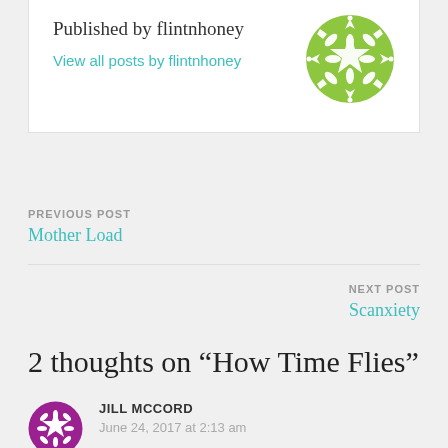Published by flintnhoney
View all posts by flintnhoney
[Figure (logo): Green geometric snowflake/mandala pattern avatar for flintnhoney]
PREVIOUS POST
Mother Load
NEXT POST
Scanxiety
2 thoughts on “How Time Flies”
[Figure (logo): Purple/magenta geometric snowflake avatar for Jill McCord]
JILL MCCORD
June 24, 2017 at 2:13 am